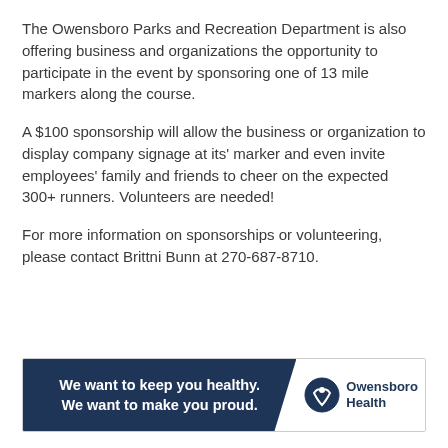The Owensboro Parks and Recreation Department is also offering business and organizations the opportunity to participate in the event by sponsoring one of 13 mile markers along the course.
A $100 sponsorship will allow the business or organization to display company signage at its' marker and even invite employees' family and friends to cheer on the expected 300+ runners. Volunteers are needed!
For more information on sponsorships or volunteering, please contact Brittni Bunn at 270-687-8710.
[Figure (infographic): Owensboro Health advertisement banner with dark navy blue background on left side reading 'We want to keep you healthy. We want to make you proud.' and white right side with Owensboro Health logo.]